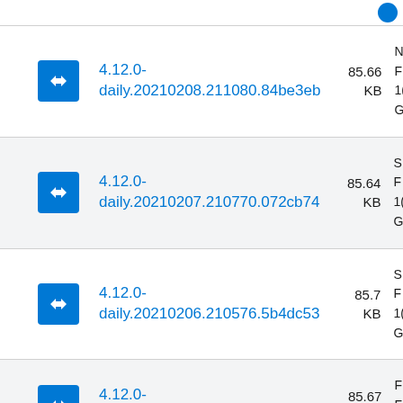4.12.0-daily.20210208.211080.84be3eb 85.66 KB
4.12.0-daily.20210207.210770.072cb74 85.64 KB
4.12.0-daily.20210206.210576.5b4dc53 85.7 KB
4.12.0-daily.20210205.210249.a163e05 85.67 KB